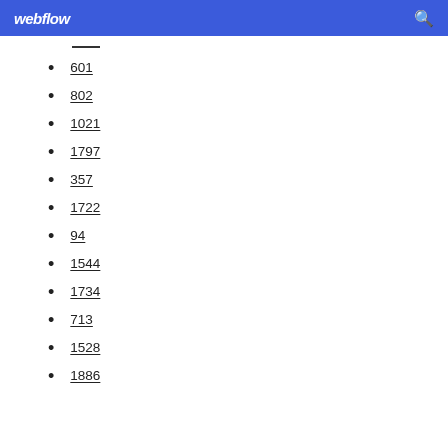webflow
601
802
1021
1797
357
1722
94
1544
1734
713
1528
1886